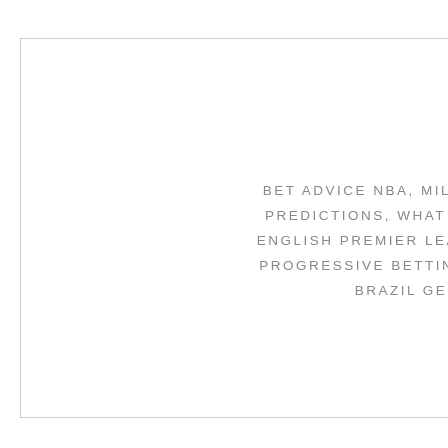DOLGOPOLC
BET ADVICE NBA, MILAN ROMA BETTING TIPS, DOLGOPO PREDICTIONS, WHAT IS A MONEYLINE IN SOCCER BETTI ENGLISH PREMIER LEAGUE PREDICTIONS WEEK 21, PERU PROGRESSIVE BETTING VS CARD COUNTING, BETTING TI BRAZIL GERMANY CORRECT SCORE